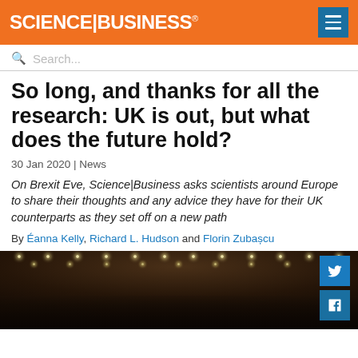SCIENCE|BUSINESS®
Search...
So long, and thanks for all the research: UK is out, but what does the future hold?
30 Jan 2020 | News
On Brexit Eve, Science|Business asks scientists around Europe to share their thoughts and any advice they have for their UK counterparts as they set off on a new path
By Éanna Kelly, Richard L. Hudson and Florin Zubașcu
[Figure (photo): A packed theatre or concert hall viewed from above, with rows of glowing ceiling lights and a crowd of people in the lower portion of the image, dark amber/brown tones.]